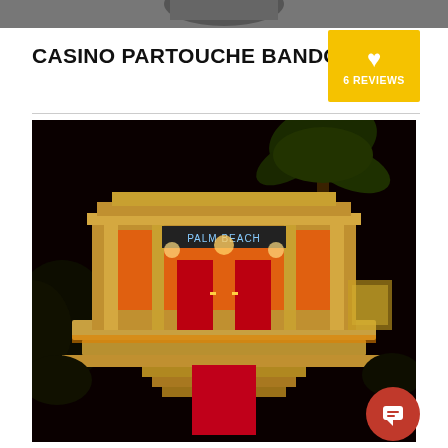[Figure (photo): Top portion of a photo, partially cropped at the top of the page — dark background with partial figure visible]
CASINO PARTOUCHE BANDOL
[Figure (other): Gold badge with heart icon showing 6 REVIEWS]
[Figure (photo): Night-time exterior photo of Casino Partouche Bandol (Palm Beach entrance), illuminated red and gold entrance with red carpet, palm tree on right, dark sky background]
[Figure (other): Red circular chat/support button in lower right corner with speech bubble icon]